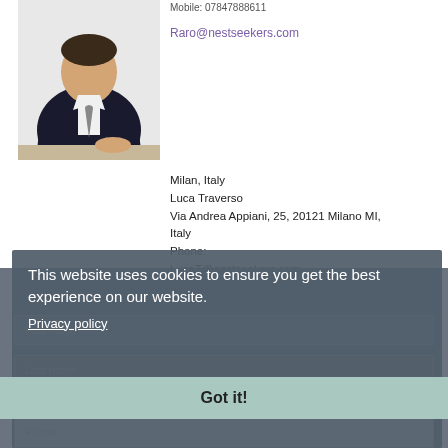[Figure (photo): Professional headshot of a man in a dark suit and tie, seated at a desk]
Mobile: 07847888611
Raro@nestseekers.com
Milan, Italy
Luca Traverso
Via Andrea Appiani, 25, 20121 Milano MI, Italy
Phone:
LucaT@nestseekers.com
This website uses cookies to ensure you get the best experience on our website.
Privacy policy
Got it!